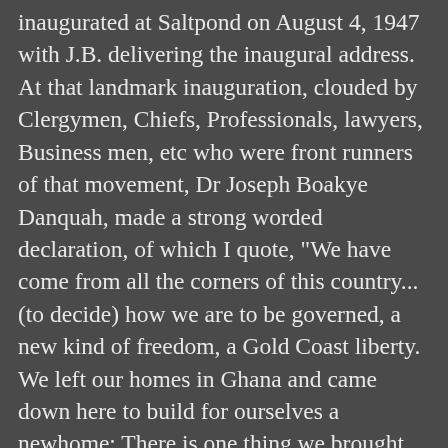inaugurated at Saltpond on August 4, 1947 with J.B. delivering the inaugural address. At that landmark inauguration, clouded by Clergymen, Chiefs, Professionals, lawyers, Business men, etc who were front runners of that movement, Dr Joseph Boakye Danquah, made a strong worded declaration, of which I quote, "We have come from all the corners of this country...(to decide) how we are to be governed, a new kind of freedom, a Gold Coast liberty. We left our homes in Ghana and came down here to build for ourselves a newhome: There is one thing we brought with us from ancient freedom. Today the safety of that freedom is threatened; has been continuously threatened for 100 years; since the Bond of 1844 and the time has come for a decision". The sole purpose of the Convention was ensuring that "in the shortest possible time the direction and control of the Government shall pass into the hands of the people and their chiefs." To ensure that the UGCC